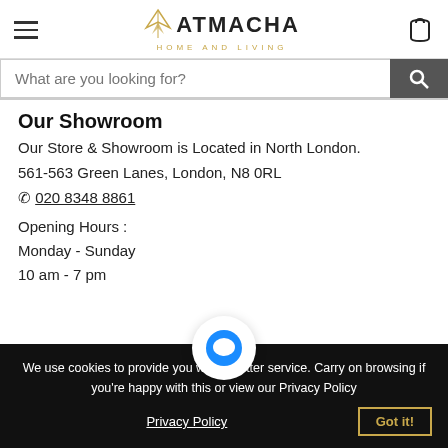ATMACHA HOME AND LIVING
What are you looking for?
Our Showroom
Our Store & Showroom is Located in North London.
561-563 Green Lanes, London, N8 0RL
☎ 020 8348 8861
Opening Hours :
Monday - Sunday
10 am - 7 pm
We use cookies to provide you with a better service. Carry on browsing if you're happy with this or view our Privacy Policy
Privacy Policy
Got it!